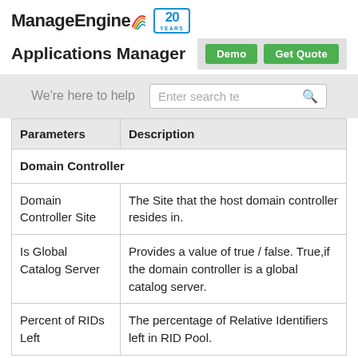ManageEngine 20 YEARS
Applications Manager
We're here to help  Enter search te [search icon]
| Parameters | Description |
| --- | --- |
| Domain Controller |  |
| Domain Controller Site | The Site that the host domain controller resides in. |
| Is Global Catalog Server | Provides a value of true / false. True,if the domain controller is a global catalog server. |
| Percent of RIDs Left | The percentage of Relative Identifiers left in RID Pool. |